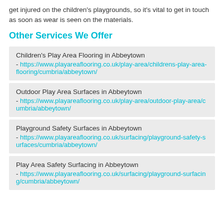get injured on the children's playgrounds, so it's vital to get in touch as soon as wear is seen on the materials.
Other Services We Offer
Children's Play Area Flooring in Abbeytown - https://www.playareaflooring.co.uk/play-area/childrens-play-area-flooring/cumbria/abbeytown/
Outdoor Play Area Surfaces in Abbeytown - https://www.playareaflooring.co.uk/play-area/outdoor-play-area/cumbria/abbeytown/
Playground Safety Surfaces in Abbeytown - https://www.playareaflooring.co.uk/surfacing/playground-safety-surfaces/cumbria/abbeytown/
Play Area Safety Surfacing in Abbeytown - https://www.playareaflooring.co.uk/surfacing/playground-surfacing/cumbria/abbeytown/